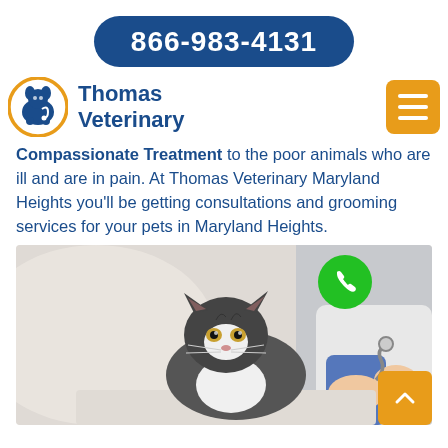866-983-4131
Thomas Veterinary
Compassionate Treatment to the poor animals who are ill and are in pain. At Thomas Veterinary Maryland Heights you'll be getting consultations and grooming services for your pets in Maryland Heights.
[Figure (photo): A gray and white fluffy cat being examined with a stethoscope by a veterinarian in a white coat and blue shirt.]